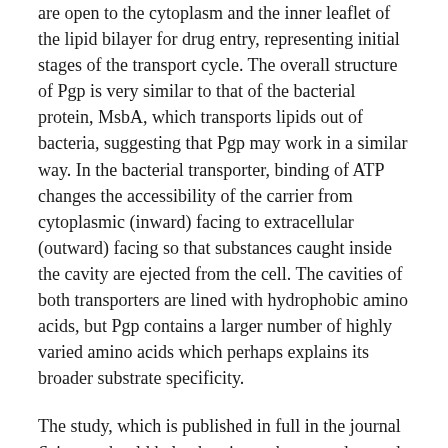are open to the cytoplasm and the inner leaflet of the lipid bilayer for drug entry, representing initial stages of the transport cycle. The overall structure of Pgp is very similar to that of the bacterial protein, MsbA, which transports lipids out of bacteria, suggesting that Pgp may work in a similar way. In the bacterial transporter, binding of ATP changes the accessibility of the carrier from cytoplasmic (inward) facing to extracellular (outward) facing so that substances caught inside the cavity are ejected from the cell. The cavities of both transporters are lined with hydrophobic amino acids, but Pgp contains a larger number of highly varied amino acids which perhaps explains its broader substrate specificity.
The study, which is published in full in the journal Science, should help chemists to better understand, if not tame, the beast.